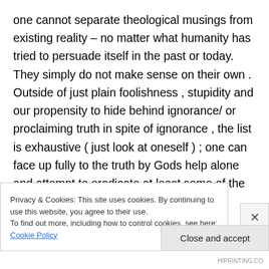one cannot separate theological musings from existing reality – no matter what humanity has tried to persuade itself in the past or today. They simply do not make sense on their own . Outside of just plain foolishness , stupidity and our propensity to hide behind ignorance/ or proclaiming truth in spite of ignorance , the list is exhaustive ( just look at oneself ) ; one can face up fully to the truth by Gods help alone and attempt to eradicate at least some of the worst causes of the plight of suffering humanity today.
Privacy & Cookies: This site uses cookies. By continuing to use this website, you agree to their use.
To find out more, including how to control cookies, see here: Cookie Policy
Close and accept
HIPRINTING.CO